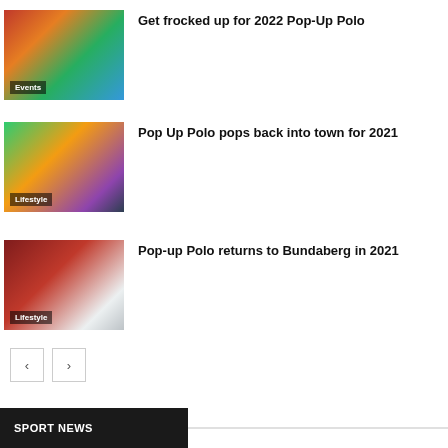[Figure (photo): Thumbnail image of polo event with crowd, tagged Events]
Get frocked up for 2022 Pop-Up Polo
[Figure (photo): Thumbnail image of polo ground with horse and people, tagged Lifestyle]
Pop Up Polo pops back into town for 2021
[Figure (photo): Thumbnail image of polo player on white horse, tagged Lifestyle]
Pop-up Polo returns to Bundaberg in 2021
< >
SPORT NEWS